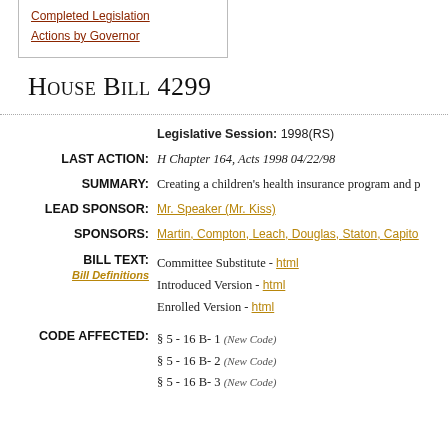Completed Legislation
Actions by Governor
House Bill 4299
Legislative Session: 1998(RS)
LAST ACTION: H Chapter 164, Acts 1998 04/22/98
SUMMARY: Creating a children's health insurance program and p
LEAD SPONSOR: Mr. Speaker (Mr. Kiss)
SPONSORS: Martin, Compton, Leach, Douglas, Staton, Capito
BILL TEXT: Committee Substitute - html
Introduced Version - html
Enrolled Version - html
Bill Definitions
CODE AFFECTED: § 5 - 16 B- 1 (New Code)
§ 5 - 16 B- 2 (New Code)
§ 5 - 16 B- 3 (New Code)